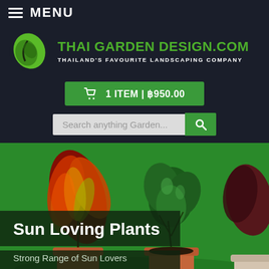MENU
[Figure (logo): Thai Garden Design logo with green leaf icon and green text 'THAI GARDEN DESIGN.COM' and white subtitle 'THAILAND'S FAVOURITE LANDSCAPING COMPANY']
1 ITEM | ฿950.00
Search anything Garden...
[Figure (photo): Hero banner showing multiple potted tropical plants including colorful croton, rubber plant, and dark-leaved plant on a green background]
Sun Loving Plants
Strong Range of Sun Lovers